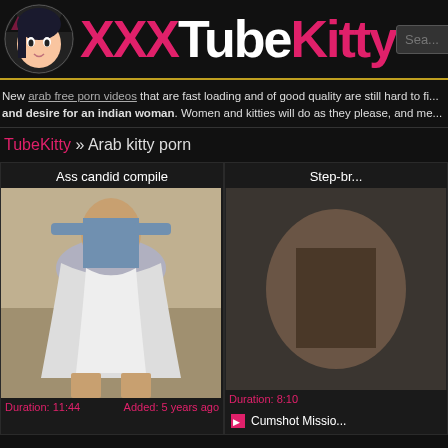[Figure (logo): XXXTubeKitty website logo with anime cat girl icon and pink/white text]
New arab free porn videos that are fast loading and of good quality are still hard to fi... and desire for an indian woman. Women and kitties will do as they please, and me...
TubeKitty » Arab kitty porn
Ass candid compile
[Figure (photo): Thumbnail image showing woman in white skirt from behind]
Duration: 11:44   Added: 5 years ago
Step-br...
Cumshot Missio...
Duration: 8:10